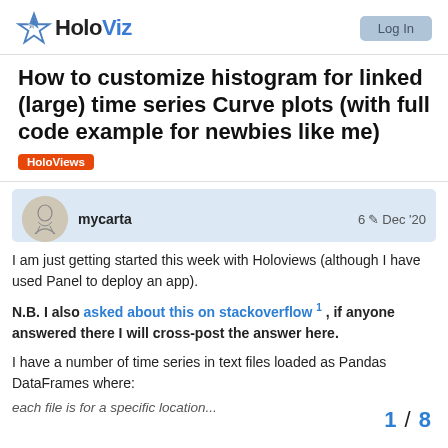HoloViz | Log In
How to customize histogram for linked (large) time series Curve plots (with full code example for newbies like me)
HoloViews
mycarta   6 ✏  Dec '20
I am just getting started this week with Holoviews (although I have used Panel to deploy an app).
N.B. I also asked about this on stackoverflow 1 , if anyone answered there I will cross-post the answer here.
I have a number of time series in text files loaded as Pandas DataFrames where:
each file is for a specific location...
1 / 8